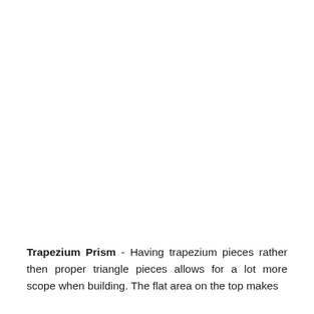Trapezium Prism - Having trapezium pieces rather then proper triangle pieces allows for a lot more scope when building. The flat area on the top makes